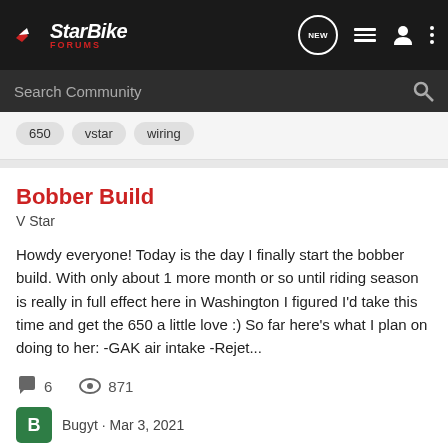StarBike Forums
Search Community
650 · vstar · wiring
Bobber Build
V Star
Howdy everyone! Today is the day I finally start the bobber build. With only about 1 more month or so until riding season is really in full effect here in Washington I figured I'd take this time and get the 650 a little love :) So far here's what I plan on doing to her: -GAK air intake -Rejet...
6 comments · 871 views
Bugyt · Mar 3, 2021
650 · bobber · build · vstar 650